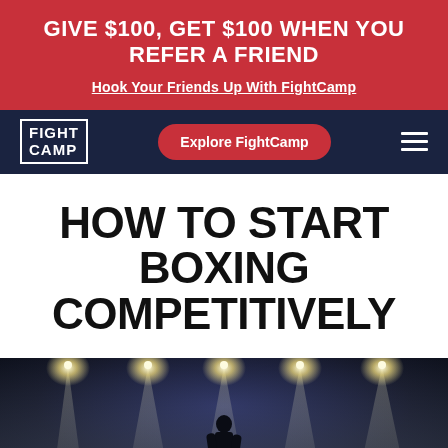GIVE $100, GET $100 WHEN YOU REFER A FRIEND
Hook Your Friends Up With FightCamp
[Figure (logo): FightCamp navigation bar with logo, Explore FightCamp button, and hamburger menu]
HOW TO START BOXING COMPETITIVELY
[Figure (photo): Dark dramatic boxing ring scene with bright overhead lights, smoke/haze, and a lone silhouetted figure standing in the ring facing away from the camera]